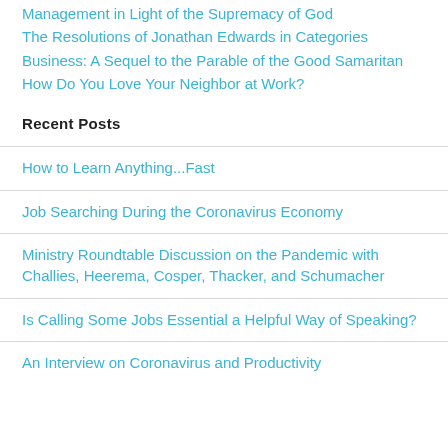Management in Light of the Supremacy of God
The Resolutions of Jonathan Edwards in Categories
Business: A Sequel to the Parable of the Good Samaritan
How Do You Love Your Neighbor at Work?
Recent Posts
How to Learn Anything…Fast
Job Searching During the Coronavirus Economy
Ministry Roundtable Discussion on the Pandemic with Challies, Heerema, Cosper, Thacker, and Schumacher
Is Calling Some Jobs Essential a Helpful Way of Speaking?
An Interview on Coronavirus and Productivity